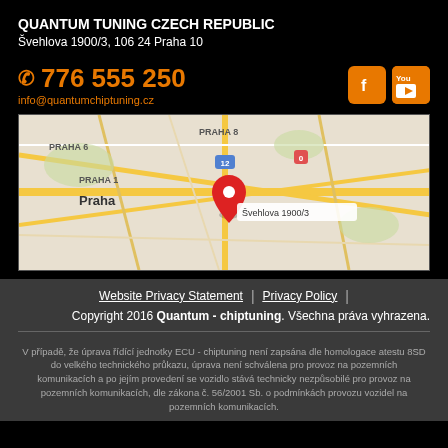QUANTUM TUNING CZECH REPUBLIC
Švehlova 1900/3, 106 24 Praha 10
776 555 250
info@quantumchiptuning.cz
[Figure (map): Google Maps showing Praha area with a red pin marker at Švehlova 1900/3, showing Praha 1, Praha 6, Praha 8 districts]
Website Privacy Statement | Privacy Policy |
Copyright 2016 Quantum - chiptuning. Všechna práva vyhrazena.
V případě, že úprava řídící jednotky ECU - chiptuning není zapsána dle homologace atestu 8SD do velkého technického průkazu, úprava není schválena pro provoz na pozemních komunikacích a po jejím provedení se vozidlo stává technicky nezpůsobilé pro provoz na pozemních komunikacích, dle zákona č. 56/2001 Sb. o podmínkách provozu vozidel na pozemních komunikacích.